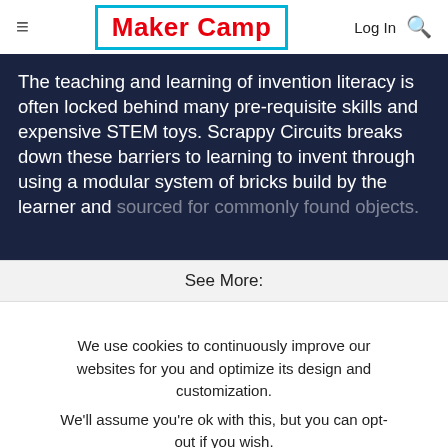≡  Maker Camp  Log In 🔍
The teaching and learning of invention literacy is often locked behind many pre-requisite skills and expensive STEM toys. Scrappy Circuits breaks down these barriers to learning to invent through using a modular system of bricks build by the learner and sourced for commonly found objects.
See More:
We use cookies to continuously improve our websites for you and optimize its design and customization. We'll assume you're ok with this, but you can opt-out if you wish.
CONFIGURE
ACCEPT